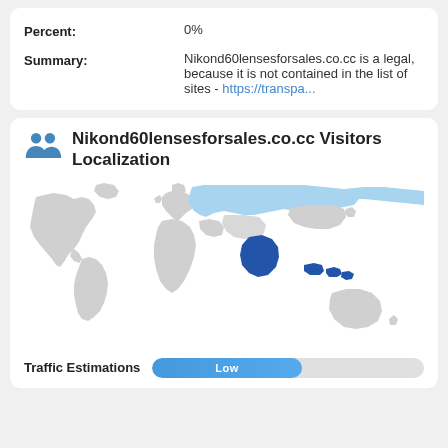| Label | Value |
| --- | --- |
| Percent: | 0% |
| Summary: | Nikond60lensesforsales.co.cc is a legal, because it is not contained in the list of sites - https://transpa... |
Nikond60lensesforsales.co.cc Visitors Localization
[Figure (map): World map showing visitor localization for Nikond60lensesforsales.co.cc. Russia/Central Asia highlighted in light blue, India highlighted in dark blue, Indonesia/Southeast Asia highlighted in dark blue. Rest of world in gray.]
Traffic Estimations   Low